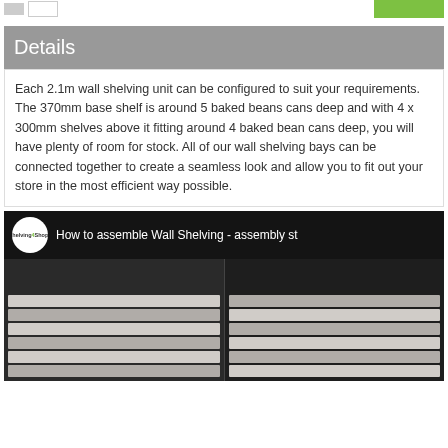Details
Each 2.1m wall shelving unit can be configured to suit your requirements. The 370mm base shelf is around 5 baked beans cans deep and with 4 x 300mm shelves above it fitting around 4 baked bean cans deep, you will have plenty of room for stock. All of our wall shelving bays can be connected together to create a seamless look and allow you to fit out your store in the most efficient way possible.
[Figure (screenshot): Video thumbnail showing wall shelving assembly video from Shelving4Shops channel. Title text reads 'How to assemble Wall Shelving - assembly st...' with channel logo and dark background showing stacked shelving units.]